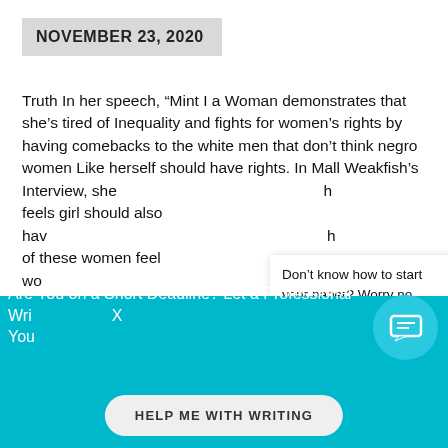NOVEMBER 23, 2020
Truth In her speech, “Mint I a Woman demonstrates that she’s tired of Inequality and fights for women’s rights by having comebacks to the white men that don’t think negro women Like herself should have rights. In Mall Weakfish’s Interview, she feels girl should also have of these women feel wo Sojourner
Don’t know how to start your paper? Worry no more! Get professional writing assistance from me.
Click here
READ MORE
Are You on a Short Deadline? Let a Professional Wri You
HELP ME WITH WRITING